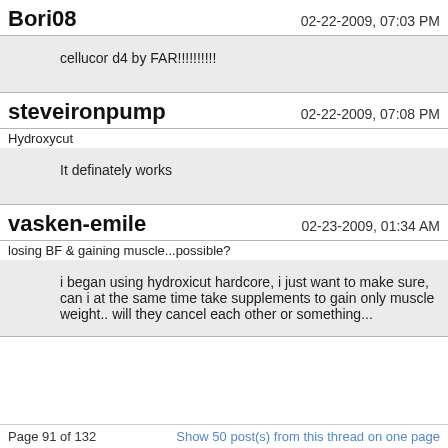Bori08
02-22-2009, 07:03 PM
cellucor d4 by FAR!!!!!!!!!!
steveironpump
02-22-2009, 07:08 PM
Hydroxycut
It definately works
vasken-emile
02-23-2009, 01:34 AM
losing BF & gaining muscle...possible?
i began using hydroxicut hardcore, i just want to make sure, can i at the same time take supplements to gain only muscle weight.. will they cancel each other or something...
Page 91 of 132
Show 50 post(s) from this thread on one page